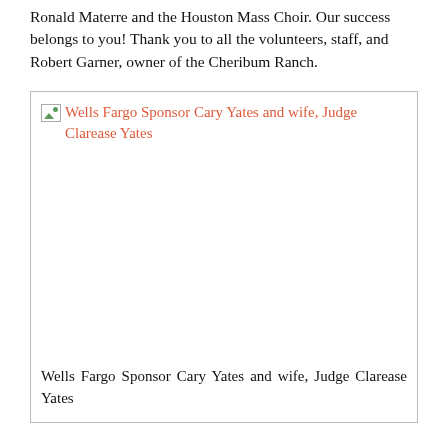Ronald Materre and the Houston Mass Choir. Our success belongs to you! Thank you to all the volunteers, staff, and Robert Garner, owner of the Cheribum Ranch.
[Figure (photo): Broken image placeholder for a photo of Wells Fargo Sponsor Cary Yates and wife, Judge Clarease Yates. The image failed to load and shows the alt text in orange/red color with a broken image icon.]
Wells Fargo Sponsor Cary Yates and wife, Judge Clarease Yates